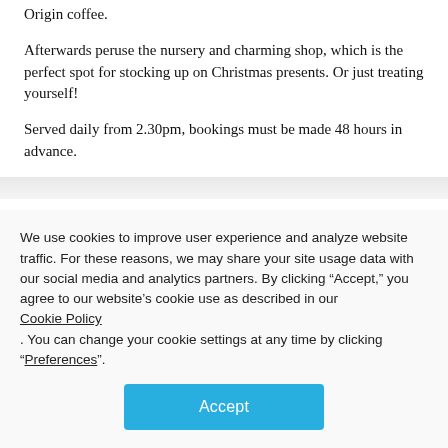Origin coffee.
Afterwards peruse the nursery and charming shop, which is the perfect spot for stocking up on Christmas presents. Or just treating yourself!
Served daily from 2.30pm, bookings must be made 48 hours in advance.
We use cookies to improve user experience and analyze website traffic. For these reasons, we may share your site usage data with our social media and analytics partners. By clicking “Accept,” you agree to our website’s cookie use as described in our Cookie Policy. You can change your cookie settings at any time by clicking “Preferences”.